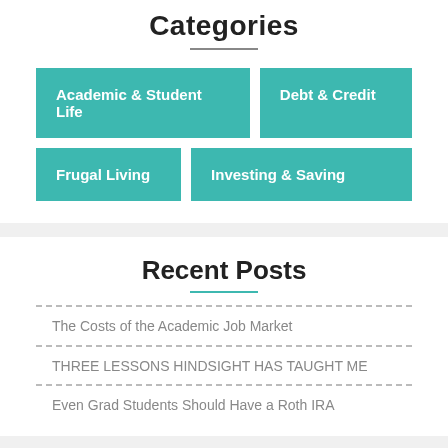Categories
Academic & Student Life
Debt & Credit
Frugal Living
Investing & Saving
Recent Posts
The Costs of the Academic Job Market
THREE LESSONS HINDSIGHT HAS TAUGHT ME
Even Grad Students Should Have a Roth IRA